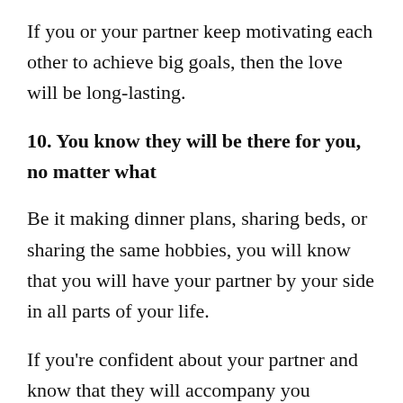If you or your partner keep motivating each other to achieve big goals, then the love will be long-lasting.
10. You know they will be there for you, no matter what
Be it making dinner plans, sharing beds, or sharing the same hobbies, you will know that you will have your partner by your side in all parts of your life.
If you're confident about your partner and know that they will accompany you through all phases of life, then your relationship may